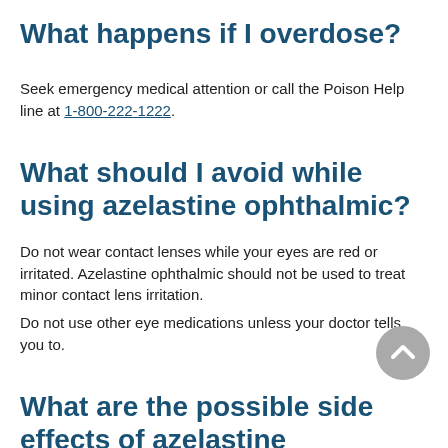What happens if I overdose?
Seek emergency medical attention or call the Poison Help line at 1-800-222-1222.
What should I avoid while using azelastine ophthalmic?
Do not wear contact lenses while your eyes are red or irritated. Azelastine ophthalmic should not be used to treat minor contact lens irritation.
Do not use other eye medications unless your doctor tells you to.
What are the possible side effects of azelastine